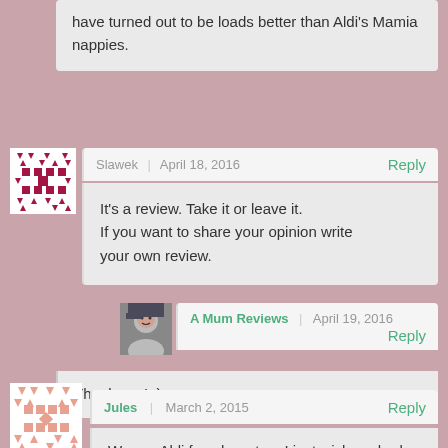have turned out to be loads better than Aldi's Mamia nappies.
[Figure (illustration): Avatar icon for user Slawek - geometric pattern in crimson/dark red on white background]
Slawek | April 18, 2016 Reply
It's a review. Take it or leave it. If you want to share your opinion write your own review.
[Figure (photo): Avatar photo for A Mum Reviews blog - woman's face]
A Mum Reviews | April 19, 2016 Reply
Thank you! :)
[Figure (illustration): Avatar icon for user Jules - geometric pattern in salmon/pink on white background]
Jules | March 2, 2015 Reply
We are Aldi fans here too. I just wish we had one